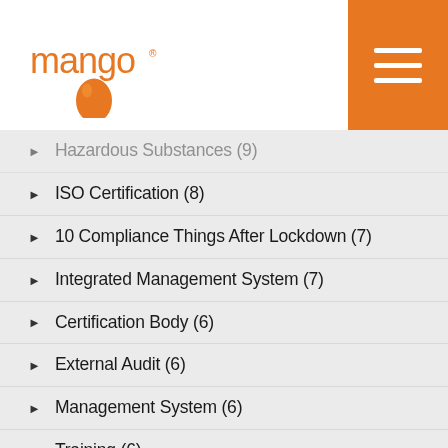[Figure (logo): Mango logo — orange mango fruit with 'mango' text in orange]
Hazardous Substances (9)
ISO Certification (8)
10 Compliance Things After Lockdown (7)
Integrated Management System (7)
Certification Body (6)
External Audit (6)
Management System (6)
Training (6)
Audits & Inspections (5)
Food Safety (5)
Risk Management (5)